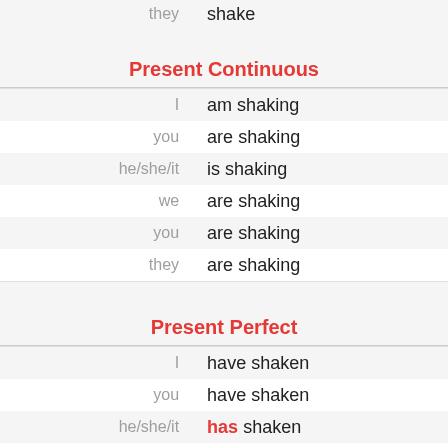| pronoun | verb |
| --- | --- |
| they | shake |
Present Continuous
| pronoun | verb |
| --- | --- |
| I | am shaking |
| you | are shaking |
| he/she/it | is shaking |
| we | are shaking |
| you | are shaking |
| they | are shaking |
Present Perfect
| pronoun | verb |
| --- | --- |
| I | have shaken |
| you | have shaken |
| he/she/it | has shaken |
| we | have shaken |